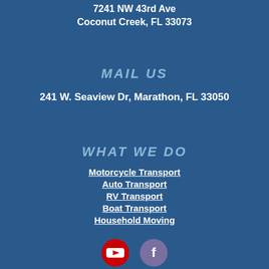7241 NW 43rd Ave
Coconut Creek, FL 33073
MAIL US
241 W. Seaview Dr, Marathon, FL 33050
WHAT WE DO
Motorcycle Transport
Auto Transport
RV Transport
Boat Transport
Household Moving
[Figure (logo): YouTube and Facebook social media icons]